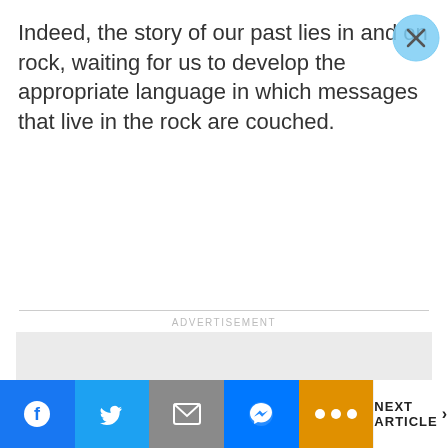Indeed, the story of our past lies in and on rock, waiting for us to develop the appropriate language in which messages that live in the rock are couched.
[Figure (other): Light blue circular close/dismiss button with X icon, positioned top right]
ADVERTISEMENT
[Figure (other): Gray advertisement placeholder box with an X close button in the bottom right corner]
[Figure (other): Bottom navigation bar with social share buttons: Facebook (blue), Twitter (blue), Email (gray), Messenger (blue), More (orange dots), and NEXT ARTICLE button]